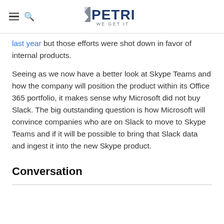PETRI WE GET IT
last year but those efforts were shot down in favor of internal products.
Seeing as we now have a better look at Skype Teams and how the company will position the product within its Office 365 portfolio, it makes sense why Microsoft did not buy Slack. The big outstanding question is how Microsoft will convince companies who are on Slack to move to Skype Teams and if it will be possible to bring that Slack data and ingest it into the new Skype product.
Conversation